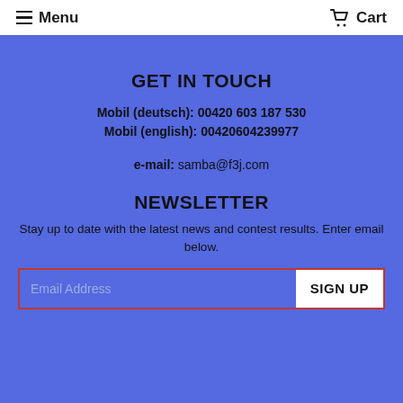Menu   Cart
GET IN TOUCH
Mobil (deutsch): 00420 603 187 530
Mobil (english): 00420604239977
e-mail: samba@f3j.com
NEWSLETTER
Stay up to date with the latest news and contest results. Enter email below.
Email Address   SIGN UP